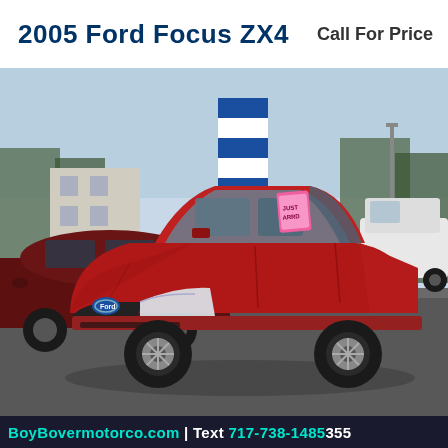2005 Ford Focus ZX4   Call For Price
[Figure (photo): Red 2005 Ford Focus ZX4 parked in a car dealership lot. A dark maroon car is visible on the left, a white van on the right, a blue dealer banner flag in the background, and trees/sky visible. The car has a pink price tag on the windshield.]
BoyBovermotorco.com | Text 717-738-1485 355